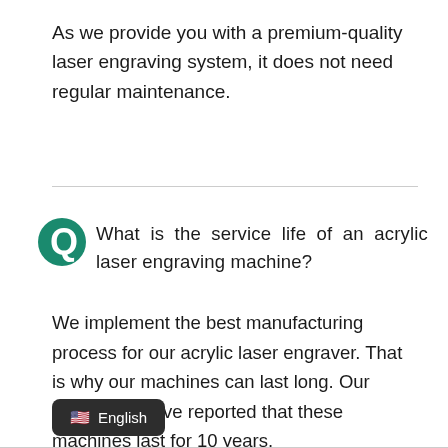As we provide you with a premium-quality laser engraving system, it does not need regular maintenance.
Q  What is the service life of an acrylic laser engraving machine?
We implement the best manufacturing process for our acrylic laser engraver. That is why our machines can last long. Our customers have reported that these machines last for 10 years.
English